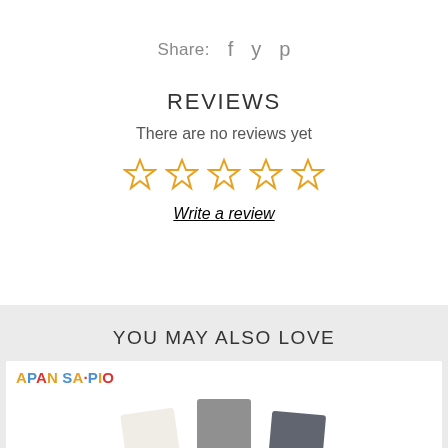Share: f  y  p
REVIEWS
There are no reviews yet
[Figure (other): Five empty star rating icons in orange outline]
Write a review
YOU MAY ALSO LOVE
[Figure (photo): Product card showing Apan Sapio logo and three color tile samples: white/cream, gray, and dark gray]